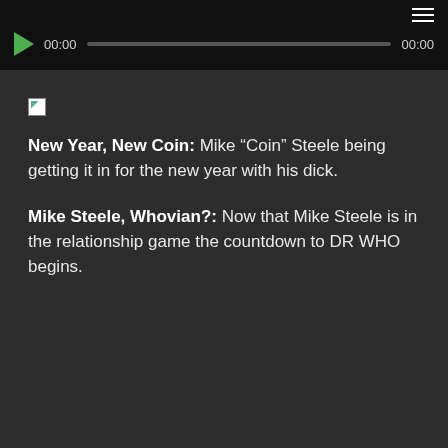[Figure (screenshot): Audio player bar with play button, time display 00:00, progress bar, and end time 00:00, with hamburger menu icon in top right, on black background]
[Figure (other): Broken image placeholder icon (small white rectangle with green arrow in corner)]
New Year, New Coin: Mike “Coin” Steele being getting it in for the new year with his dick.
Mike Steele, Whovian?: Now that Mike Steele is in the relationship game the countdown to DR WHO begins.